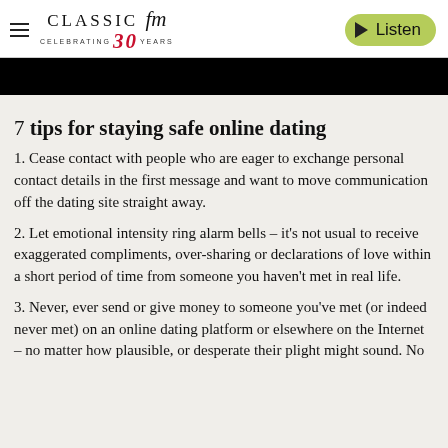Classic FM – Celebrating 30 Years | Listen
[Figure (other): Black banner image strip]
7 tips for staying safe online dating
1. Cease contact with people who are eager to exchange personal contact details in the first message and want to move communication off the dating site straight away.
2. Let emotional intensity ring alarm bells – it's not usual to receive exaggerated compliments, over-sharing or declarations of love within a short period of time from someone you haven't met in real life.
3. Never, ever send or give money to someone you've met (or indeed never met) on an online dating platform or elsewhere on the Internet – no matter how plausible, or desperate their plight might sound. No